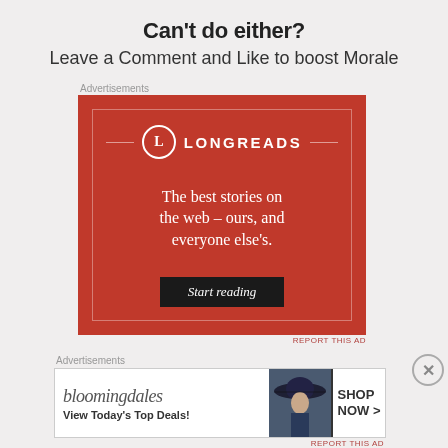Can't do either?
Leave a Comment and Like to boost Morale
Advertisements
[Figure (illustration): Longreads advertisement on red background with logo, tagline 'The best stories on the web – ours, and everyone else's.' and 'Start reading' button]
REPORT THIS AD
Advertisements
[Figure (illustration): Bloomingdale's advertisement with logo, 'View Today's Top Deals!' text, woman with hat image, and 'SHOP NOW >' button]